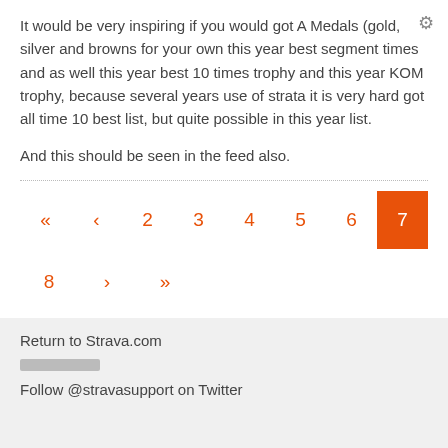It would be very inspiring if you would got A Medals (gold, silver and browns for your own this year best segment times and as well this year best 10 times trophy and this year KOM trophy, because several years use of strata it is very hard got all time 10 best list, but quite possible in this year list.
And this should be seen in the feed also.
« ‹ 2 3 4 5 6 7 8 › »
[redacted bar]
Return to Strava.com
[redacted]
Follow @stravasupport on Twitter